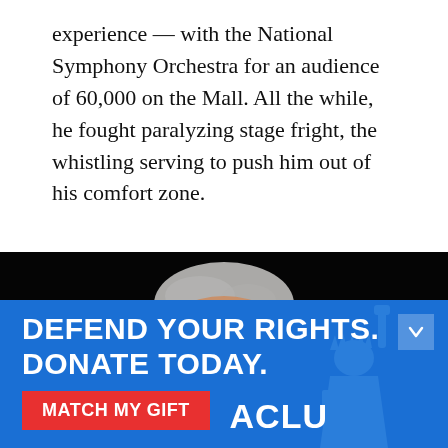experience — with the National Symphony Orchestra for an audience of 60,000 on the Mall. All the while, he fought paralyzing stage fright, the whistling serving to push him out of his comfort zone.
[Figure (photo): Close-up portrait of a middle-aged man with short grey hair and glasses, eyes closed, mouth slightly open, against a dark black background, appearing to be whistling or performing.]
[Figure (infographic): ACLU advertisement banner with blue background. Text reads 'DEFEND YOUR RIGHTS. DONATE TODAY.' with a red button saying 'MATCH MY GIFT' and the ACLU logo. A faded Statue of Liberty image appears on the right side.]